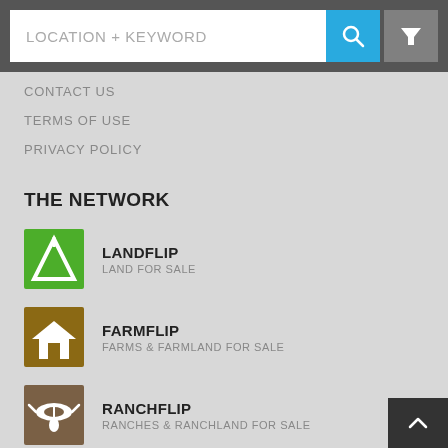LOCATION + KEYWORD
CONTACT US
TERMS OF USE
PRIVACY POLICY
THE NETWORK
LANDFLIP — LAND FOR SALE
FARMFLIP — FARMS & FARMLAND FOR SALE
RANCHFLIP — RANCHES & RANCHLAND FOR SALE
AUCTIONFLIP — LAND AUCTIONS
COMMERCIALFLIP — COMMERCIAL PROPERTY FOR SALE